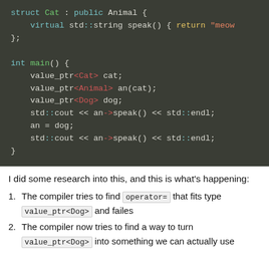[Figure (screenshot): C++ code snippet showing struct Cat inheriting public Animal with virtual speak(), and int main() using value_ptr template, on dark background]
I did some research into this, and this is what's happening:
1. The compiler tries to find operator= that fits type value_ptr<Dog> and failes
2. The compiler now tries to find a way to turn value_ptr<Dog> into something we can actually use